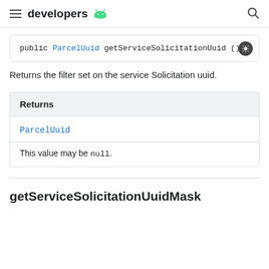developers
public ParcelUuid getServiceSolicitationUuid ()
Returns the filter set on the service Solicitation uuid.
| Returns |
| --- |
| ParcelUuid |
| This value may be null. |
getServiceSolicitationUuidMask